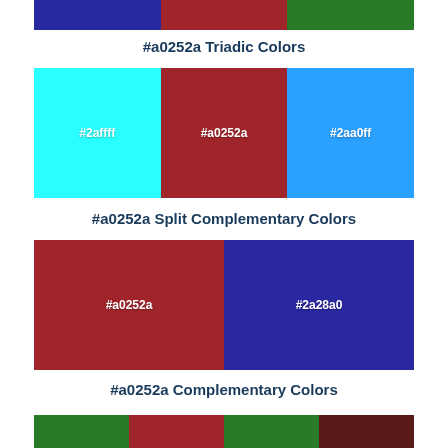[Figure (infographic): Top bar with three color segments: dark blue (#2828a0), dark red (#a0252a), dark green (#2a7a28)]
#a0252a Triadic Colors
[Figure (infographic): Triadic color swatches: cyan (#2affff), dark red (#a0252a), sky blue (#2aa0ff)]
#a0252a Split Complementary Colors
[Figure (infographic): Split complementary color swatches: dark red (#a0252a) and dark blue (#2a28a0)]
#a0252a Complementary Colors
[Figure (infographic): Bottom bar with four color segments: dark green, dark red, dark green, dark brownish red]